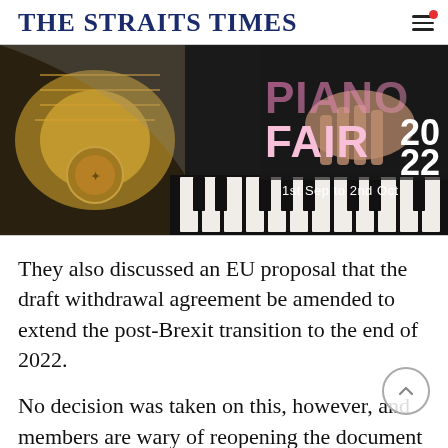THE STRAITS TIMES
[Figure (photo): Advertisement banner for Piano Fair 2022, 1st Sep to 2nd Oct, showing a hand playing piano keys with golden piano internals visible on the left side. 'PIANO FAIR 2022' text overlaid in large pink/white letters.]
They also discussed an EU proposal that the draft withdrawal agreement be amended to extend the post-Brexit transition to the end of 2022.
No decision was taken on this, however, and members are wary of reopening the document and allowing British headlines pressure to reopen it.